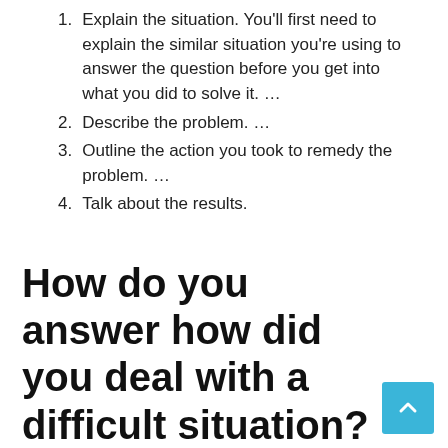Explain the situation. You'll first need to explain the similar situation you're using to answer the question before you get into what you did to solve it. …
Describe the problem. …
Outline the action you took to remedy the problem. …
Talk about the results.
How do you answer how did you deal with a difficult situation?